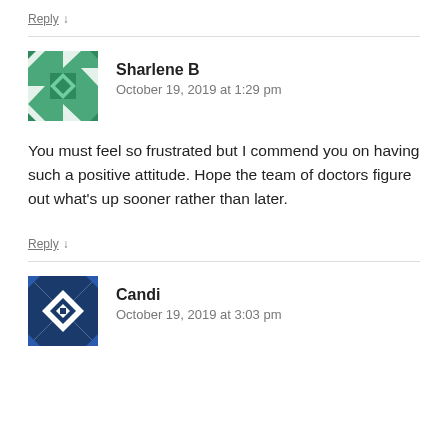Reply ↓
Sharlene B
October 19, 2019 at 1:29 pm
You must feel so frustrated but I commend you on having such a positive attitude. Hope the team of doctors figure out what's up sooner rather than later.
Reply ↓
Candi
October 19, 2019 at 3:03 pm